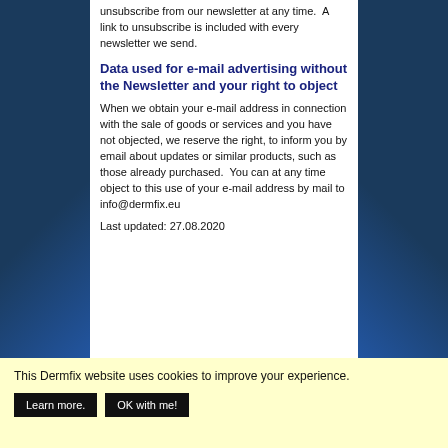unsubscribe from our newsletter at any time.  A link to unsubscribe is included with every newsletter we send.
Data used for e-mail advertising without the Newsletter and your right to object
When we obtain your e-mail address in connection with the sale of goods or services and you have not objected, we reserve the right, to inform you by email about updates or similar products, such as those already purchased.  You can at any time object to this use of your e-mail address by mail to info@dermfix.eu
Last updated: 27.08.2020
This Dermfix website uses cookies to improve your experience.
Learn more.
OK with me!